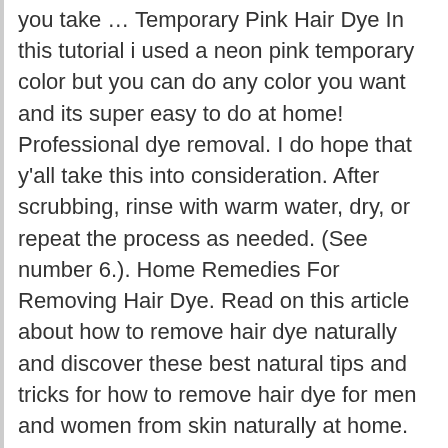you take … Temporary Pink Hair Dye In this tutorial i used a neon pink temporary color but you can do any color you want and its super easy to do at home! Professional dye removal. I do hope that y'all take this into consideration. After scrubbing, rinse with warm water, dry, or repeat the process as needed. (See number 6.). Home Remedies For Removing Hair Dye. Read on this article about how to remove hair dye naturally and discover these best natural tips and tricks for how to remove hair dye for men and women from skin naturally at home. Leave the mixture for about five minutes before rinsing thoroughly with warm water. By scrubbing away the skin cells stained with dye, baking soda helps to reveal the new layers of skin underneath. Good luck, I used hill scrubber with paste worked like a magic, [...] C has many benefits, and it contains acid that